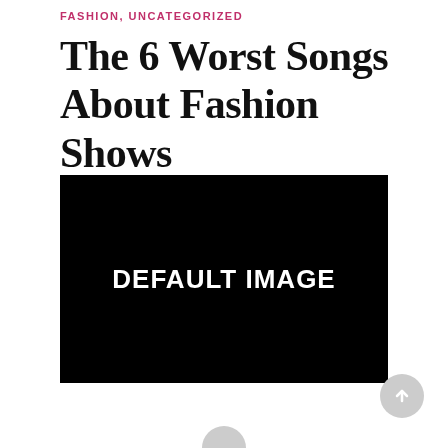FASHION, UNCATEGORIZED
The 6 Worst Songs About Fashion Shows
[Figure (photo): Default image placeholder — black rectangle with white bold text reading 'DEFAULT IMAGE']